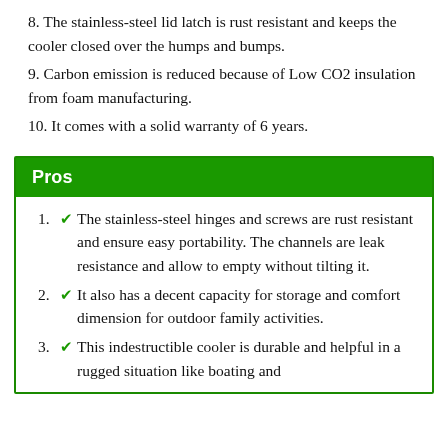8. The stainless-steel lid latch is rust resistant and keeps the cooler closed over the humps and bumps.
9. Carbon emission is reduced because of Low CO2 insulation from foam manufacturing.
10. It comes with a solid warranty of 6 years.
Pros
1. ✔ The stainless-steel hinges and screws are rust resistant and ensure easy portability. The channels are leak resistance and allow to empty without tilting it.
2. ✔ It also has a decent capacity for storage and comfort dimension for outdoor family activities.
3. ✔ This indestructible cooler is durable and helpful in a rugged situation like boating and